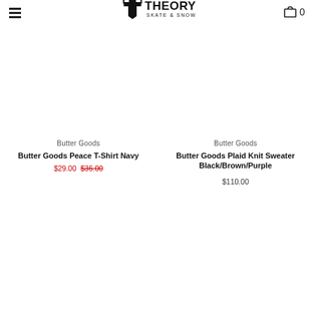Theory Skate & Snow
Butter Goods
Butter Goods Peace T-Shirt Navy
$29.00  $36.00
Butter Goods
Butter Goods Plaid Knit Sweater Black/Brown/Purple
$110.00